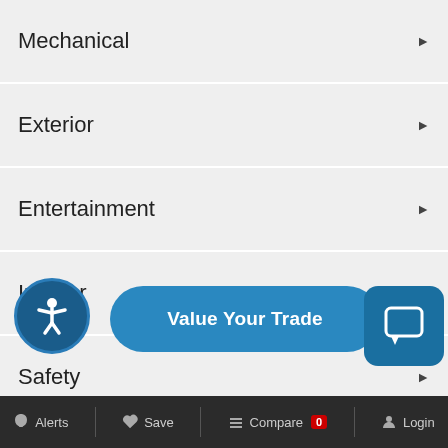Mechanical
Exterior
Entertainment
Interior
Safety
Features
Value Your Trade
Alerts  Save  Compare 0  Login